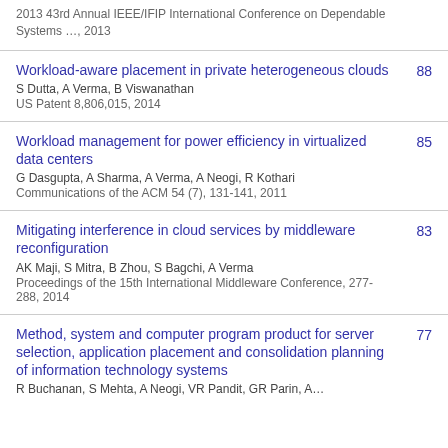2013 43rd Annual IEEE/IFIP International Conference on Dependable Systems …, 2013
Workload-aware placement in private heterogeneous clouds
S Dutta, A Verma, B Viswanathan
US Patent 8,806,015, 2014
88
Workload management for power efficiency in virtualized data centers
G Dasgupta, A Sharma, A Verma, A Neogi, R Kothari
Communications of the ACM 54 (7), 131-141, 2011
85
Mitigating interference in cloud services by middleware reconfiguration
AK Maji, S Mitra, B Zhou, S Bagchi, A Verma
Proceedings of the 15th International Middleware Conference, 277-288, 2014
83
Method, system and computer program product for server selection, application placement and consolidation planning of information technology systems
R Buchanan, S Mehta, A Neogi, VR Pandit, GR Parin, A…
77